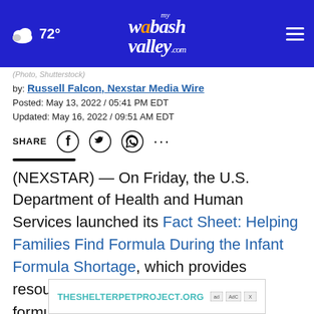72° my wabash valley .com
(Photo, Shutterstock)
by: Russell Falcon, Nexstar Media Wire
Posted: May 13, 2022 / 05:41 PM EDT
Updated: May 16, 2022 / 09:51 AM EDT
SHARE
(NEXSTAR) — On Friday, the U.S. Department of Health and Human Services launched its Fact Sheet: Helping Families Find Formula During the Infant Formula Shortage, which provides resources for families looking to find formula in their area.
The sh... or
[Figure (other): Ad banner: THESHELTERPETPROJECT.ORG]